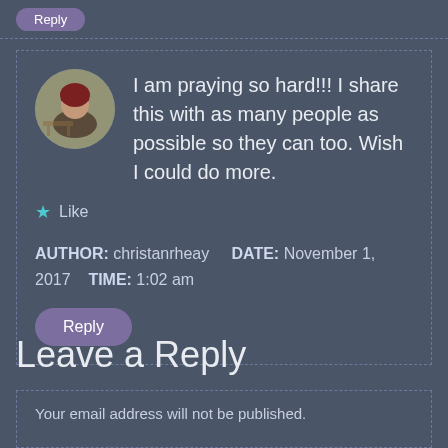[Figure (other): Reply button at top of page]
I am praying so hard!!! I share this with as many people as possible so they can too. Wish I could do more.
Like
AUTHOR: christanrheay   DATE: November 1, 2017   TIME: 1:02 am
Reply
Leave a Reply
Your email address will not be published.